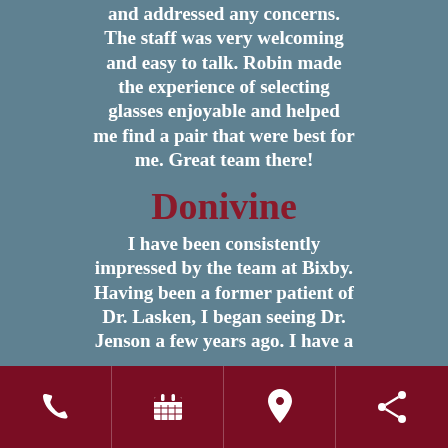and addressed any concerns. The staff was very welcoming and easy to talk. Robin made the experience of selecting glasses enjoyable and helped me find a pair that were best for me. Great team there!
Donivine
I have been consistently impressed by the team at Bixby. Having been a former patient of Dr. Lasken, I began seeing Dr. Jenson a few years ago. I have a
phone | calendar | location | share